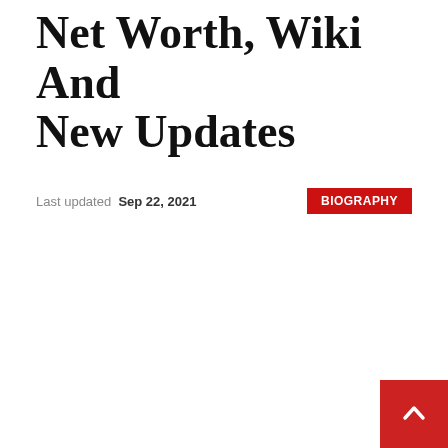Net Worth, Wiki And New Updates
Last updated Sep 22, 2021
BIOGRAPHY